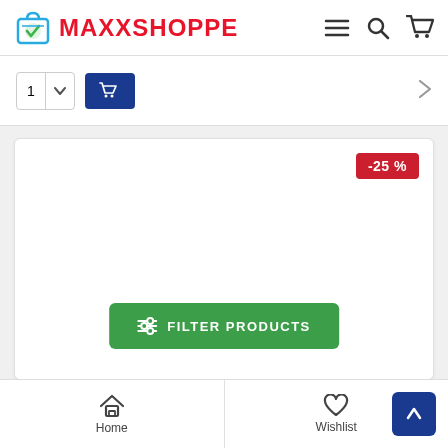MAXXSHOPPE
[Figure (screenshot): Partial product card with quantity selector and add to cart button]
[Figure (screenshot): Product card with -25% discount badge and a green FILTER PRODUCTS button]
Home | Wishlist